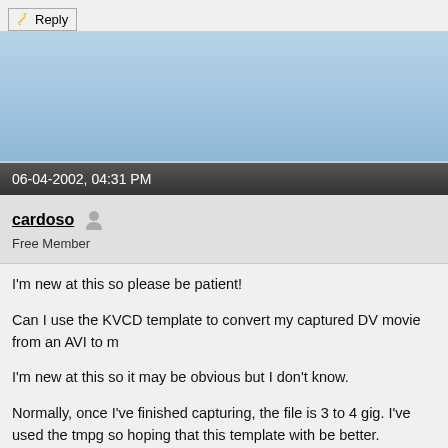[Figure (screenshot): Reply button with pencil/edit icon]
[Figure (screenshot): Blue banner/header area of forum post]
06-04-2002, 04:31 PM
cardoso   Free Member
I'm new at this so please be patient!

Can I use the KVCD template to convert my captured DV movie from an AVI to m

I'm new at this so it may be obvious but I don't know.

Normally, once I've finished capturing, the file is 3 to 4 gig. I've used the tmpg so hoping that this template with be better.

If I can use it, can someone give me suggestions on the settings that I should us

Regards
Thanx!